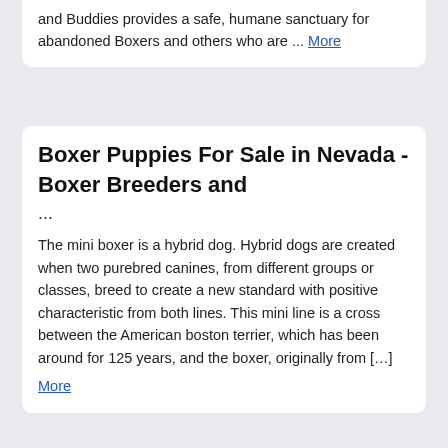and Buddies provides a safe, humane sanctuary for abandoned Boxers and others who are ... More
Boxer Puppies For Sale in Nevada - Boxer Breeders and ...
The mini boxer is a hybrid dog. Hybrid dogs are created when two purebred canines, from different groups or classes, breed to create a new standard with positive characteristic from both lines. This mini line is a cross between the American boston terrier, which has been around for 125 years, and the boxer, originally from […] More